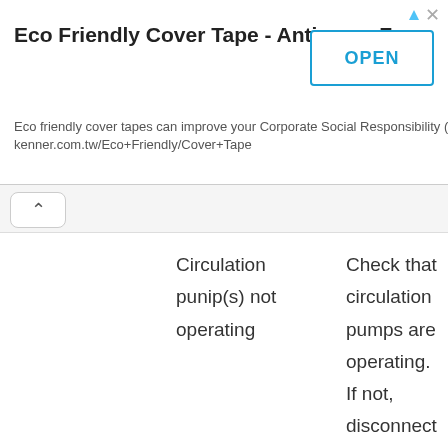[Figure (screenshot): Advertisement banner: Eco Friendly Cover Tape - Antimony Free. Text: Eco friendly cover tapes can improve your Corporate Social Responsibility (CSR). kenner.com.tw/Eco+Friendly/Cover+Tape. With an OPEN button.]
|  | Circulation punip(s) not operating | Check that circulation pumps are operating. If not, disconnect power to the pump. Close valves at the pump. Disassemble the pump and try to turn the |